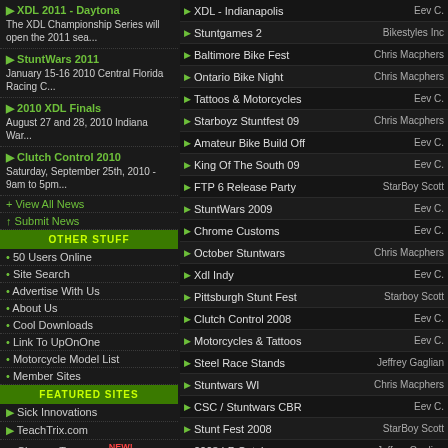XDL 2011 - Daytona — The XDL Championship Series will open the 2011 sea...
StuntWars 2011 — January 15-16 2010 Central Florida Racing C...
2010 XDL Finals — August 27 and 28, 2010 Indiana War...
Clutch Control 2010 — Saturday, September 25th, 2010 - 9am to 5pm...
+ View All News
↑ Submit News
OTHER STUFF
50 Users Online
Site Search
Advertise With Us
About Us
Cool Downloads
Link To UpOnOne
Motorcycle Model List
Member Sites
FEATURED SITES
Sick Innovations
TeachTrix.com
ChopperTown.com NEW!
HoHey Designs
| Title | Author |
| --- | --- |
| XDL - Indianapolis | Eev C. |
| Stuntgames 2 | Bikestyles Inc |
| Baltimore Bike Fest | Chris Macphers |
| Ontario Bike Night | Chris Macphers |
| Tattoos & Motorcycles | Eev C. |
| Starboyz Stuntfest 09 | Chris Macphers |
| Amateur Bike Build Off | Eev C. |
| King Of The South 09 | Eev C. |
| FTP 6 Release Party | StarBoy Scott |
| StuntWars 2009 | Eev C. |
| Chrome Customs | Eev C. |
| October Stuntwars | Chris Macphers |
| Xdl Indy | Eev C. |
| Pittsburgh Stunt Fest | Starboy Scott |
| Clutch Control 2008 | Eev C. |
| Motorcycles & Tattoos | Eev C. |
| Steel Race Stands | Jeffrey Gaglian |
| Stuntwars WI | Chris Macphers |
| CSC / Stuntwars CBR | Eev C. |
| Stunt Fest 2008 | StarBoy Scott |
| 2008 LP Catalog | Jeffrey Gaglian |
| King Of The South 08 | Eev C. |
| 2007 XDL Finals | Eev C. |
| 2008 London MC Show | Chris Macphers |
| StuntWars 2008 | Eev Caron |
| 2008 Toronto MC Show | Chris Macphers |
| Atl Street Ride Oct 07 | Chris Burgess |
| Stuntober Fest 07 | Eev |